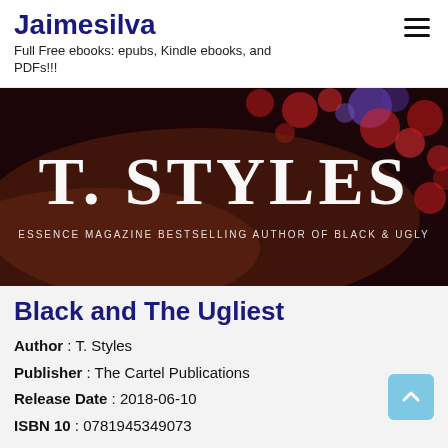Jaimesilva
Full Free ebooks: epubs, Kindle ebooks, and PDFs!!!
[Figure (illustration): Dark banner image with bokeh lights (red, blue, purple) showing 'T. STYLES' in large white serif text with tagline 'ESSENCE MAGAZINE BESTSELLING AUTHOR OF BLACK & UGLY']
Black and The Ugliest
Author : T. Styles
Publisher : The Cartel Publications
Release Date : 2018-06-10
ISBN 10 : 0781945349073